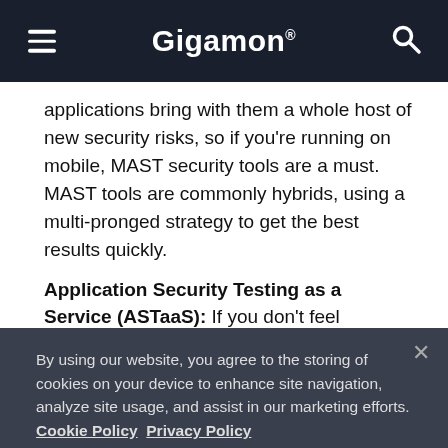Gigamon
applications bring with them a whole host of new security risks, so if you're running on mobile, MAST security tools are a must. MAST tools are commonly hybrids, using a multi-pronged strategy to get the best results quickly.
Application Security Testing as a Service (ASTaaS): If you don't feel comfortable performing the tests yourself, you can hire someone to perform them for you. ASTaaS is a quickly growing industry, covering
By using our website, you agree to the storing of cookies on your device to enhance site navigation, analyze site usage, and assist in our marketing efforts. Cookie Policy Privacy Policy
prioritize problems so you don't waste your time on